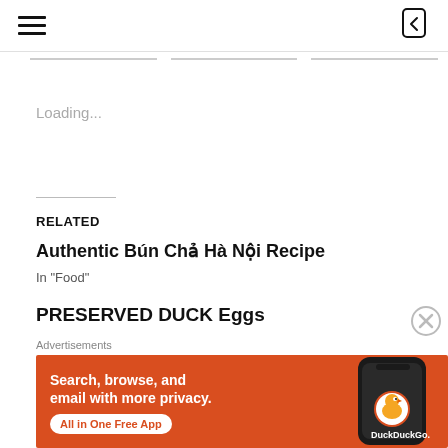Navigation bar with hamburger menu and back icon
Loading...
RELATED
Authentic Bún Chả Hà Nội Recipe
In "Food"
PRESERVED DUCK Eggs
Advertisements
[Figure (screenshot): DuckDuckGo advertisement banner with orange background showing phone and text: Search, browse, and email with more privacy. All in One Free App]